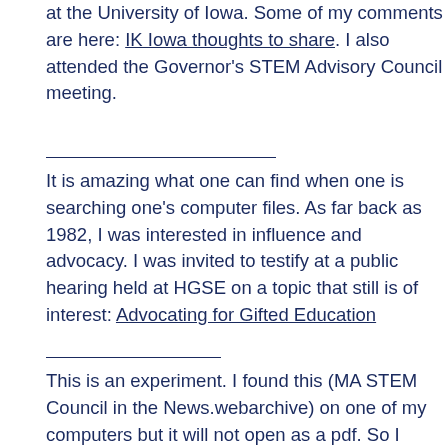at the University of Iowa. Some of my comments are here: IK Iowa thoughts to share. I also attended the Governor's STEM Advisory Council meeting.
It is amazing what one can find when one is searching one's computer files. As far back as 1982, I was interested in influence and advocacy. I was invited to testify at a public hearing held at HGSE on a topic that still is of interest: Advocating for Gifted Education
This is an experiment. I found this (MA STEM Council in the News.webarchive) on one of my computers but it will not open as a pdf. So I googled and it knew enough to connect to this website and the Boston Business Journal but not to open the document. When I tried copying the pdf, it would not work either…..Bottom line, the translation is not always seamless.